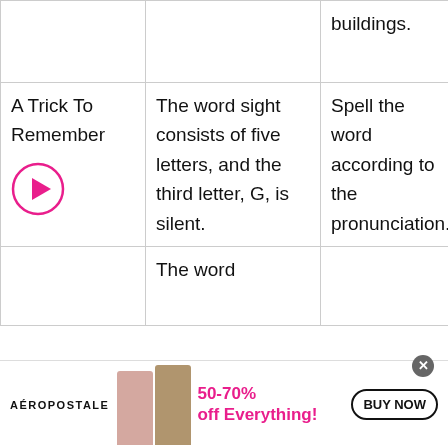|  |  |  |
| --- | --- | --- |
|  |  | buildings. |
| A Trick To Remember
[play button] | The word sight consists of five letters, and the third letter, G, is silent. | Spell the word according to the pronunciation. |
|  | The word |  |
[Figure (other): Aeropostale advertisement banner: 50-70% off Everything! BUY NOW, with two female models]